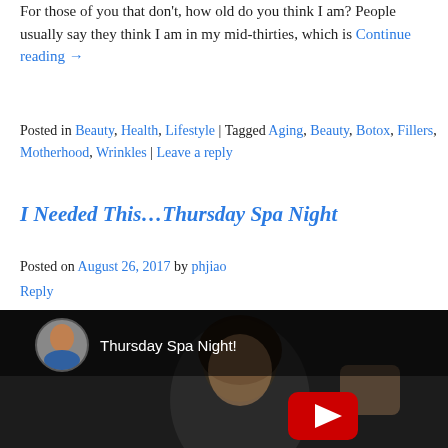For those of you that don't, how old do you think I am? People usually say they think I am in my mid-thirties, which is Continue reading →
Posted in Beauty, Health, Lifestyle | Tagged Aging, Beauty, Botox, Fillers, Motherhood, Wrinkles | Leave a reply
I Needed This…Thursday Spa Night
Posted on August 26, 2017 by phjiao Reply
[Figure (screenshot): YouTube video thumbnail showing a woman's face in a dark setting with a red YouTube play button overlay. Header shows a circular avatar photo and text 'Thursday Spa Night!']